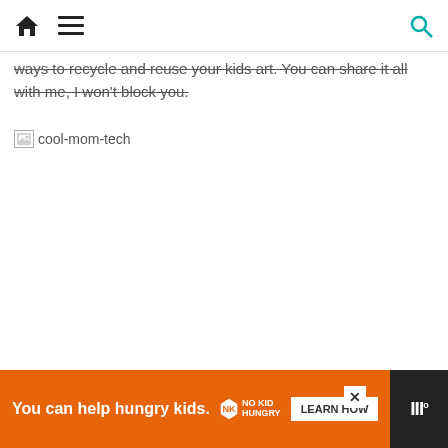Home | Menu | Search
ways to recycle and reuse your kids art. You can share it all with me, I won't block you.
[Figure (illustration): Broken image placeholder with alt text 'cool-mom-tech']
You can help hungry kids. NO KID HUNGRY LEARN HOW